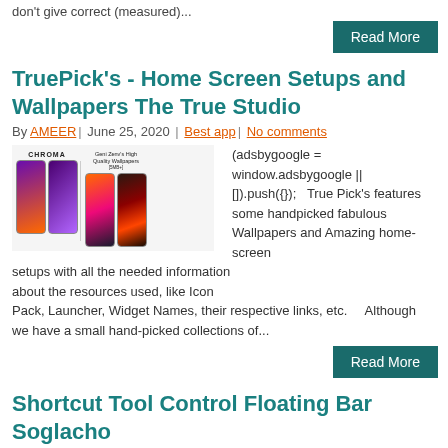don't give correct (measured)...
Read More
TruePick's - Home Screen Setups and Wallpapers The True Studio
By AMEER | June 25, 2020 | Best app | No comments
[Figure (photo): Phone screenshots showing CHROMA wallpapers and other high quality wallpapers]
(adsbygoogle = window.adsbygoogle || []).push({});   True Pick's features some handpicked fabulous Wallpapers and Amazing home-screen setups with all the needed information about the resources used, like Icon Pack, Launcher, Widget Names, their respective links, etc.    Although we have a small hand-picked collections of...
Read More
Shortcut Tool Control Floating Bar Soglacho
By AMEER | June 25, 2020 | Best app | 2 comments
[Figure (photo): Phone screenshots for Shortcut Tool Control Floating Bar Soglacho]
(adsbygoogle = window.adsbygoogle ||